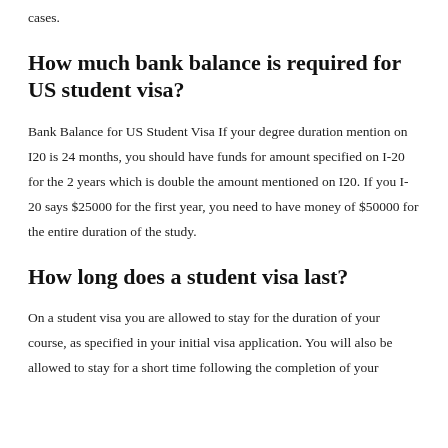cases.
How much bank balance is required for US student visa?
Bank Balance for US Student Visa If your degree duration mention on I20 is 24 months, you should have funds for amount specified on I-20 for the 2 years which is double the amount mentioned on I20. If you I-20 says $25000 for the first year, you need to have money of $50000 for the entire duration of the study.
How long does a student visa last?
On a student visa you are allowed to stay for the duration of your course, as specified in your initial visa application. You will also be allowed to stay for a short time following the completion of your